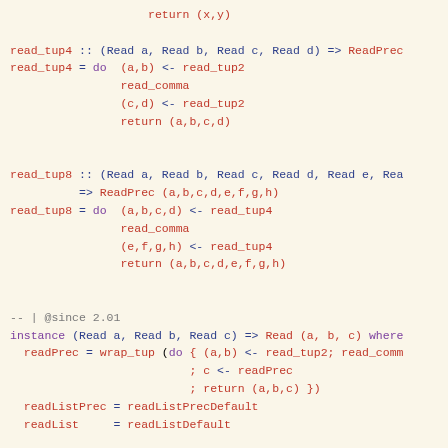return (x,y)

read_tup4 :: (Read a, Read b, Read c, Read d) => ReadPrec
read_tup4 = do  (a,b) <- read_tup2
                read_comma
                (c,d) <- read_tup2
                return (a,b,c,d)


read_tup8 :: (Read a, Read b, Read c, Read d, Read e, Rea
          => ReadPrec (a,b,c,d,e,f,g,h)
read_tup8 = do  (a,b,c,d) <- read_tup4
                read_comma
                (e,f,g,h) <- read_tup4
                return (a,b,c,d,e,f,g,h)


-- | @since 2.01
instance (Read a, Read b, Read c) => Read (a, b, c) where
  readPrec = wrap_tup (do { (a,b) <- read_tup2; read_comm
                          ; c <- readPrec
                          ; return (a,b,c) })
  readListPrec = readListPrecDefault
  readList     = readListDefault

-- | @since 2.01
instance (Read a, Read b, Read c, Read d) => Read (a, b,
  readPrec = wrap_tup read_tup4
  readListPrec = readListPrecDefault
  readList     = readListDefault